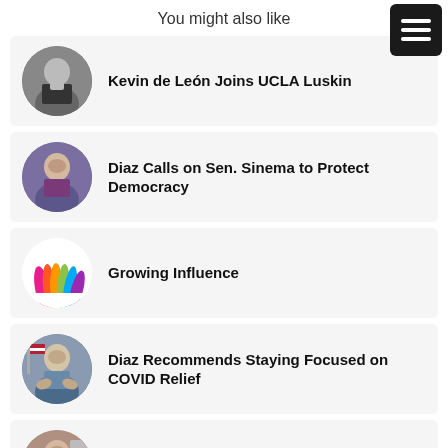You might also like
Kevin de León Joins UCLA Luskin
Diaz Calls on Sen. Sinema to Protect Democracy
Growing Influence
Diaz Recommends Staying Focused on COVID Relief
Global Change Should Stem from Local Leadership